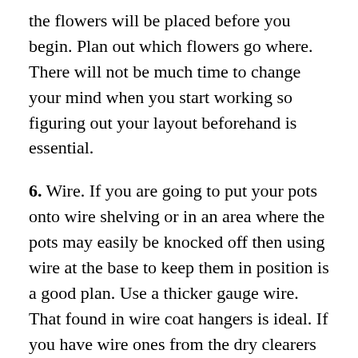the flowers will be placed before you begin. Plan out which flowers go where. There will not be much time to change your mind when you start working so figuring out your layout beforehand is essential.
6. Wire. If you are going to put your pots onto wire shelving or in an area where the pots may easily be knocked off then using wire at the base to keep them in position is a good plan. Use a thicker gauge wire. That found in wire coat hangers is ideal. If you have wire ones from the dry clearers perfect (another good way to recycle and reuse). If not buy as spool of similar gauge wire from your local hardware store.